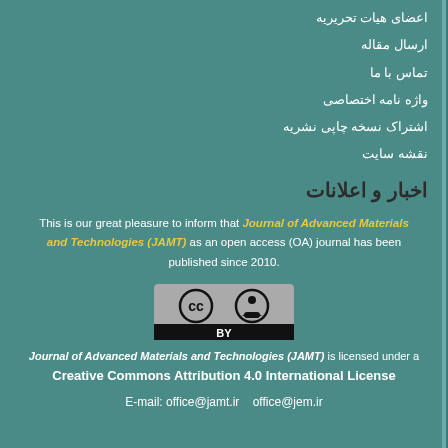اعضای هیات تحریریه
ارسال مقاله
تماس با ما
واژه نامه اختصاصی
اشتراک نسخه چاپی نشریه
نقشه سایت
اخبار و اعلانات
This is our great pleasure to inform that Journal of Advanced Materials and Technologies (JAMT) as an open access (OA) journal has been published since 2010.
[Figure (logo): Creative Commons BY license badge showing CC and person icons with BY text below]
Journal of Advanced Materials and Technologies (JAMT) is licensed under a Creative Commons Attribution 4.0 International License
E-mail: office@jamt.ir   office@jem.ir